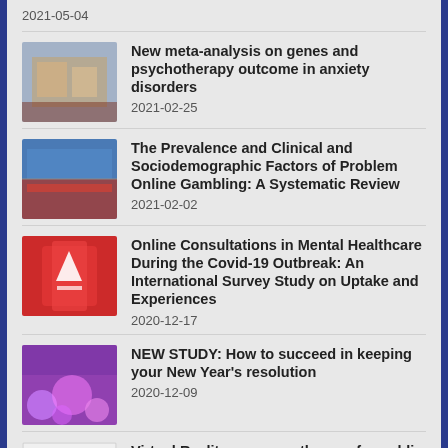2021-05-04
New meta-analysis on genes and psychotherapy outcome in anxiety disorders
2021-02-25
The Prevalence and Clinical and Sociodemographic Factors of Problem Online Gambling: A Systematic Review
2021-02-02
Online Consultations in Mental Healthcare During the Covid-19 Outbreak: An International Survey Study on Uptake and Experiences
2020-12-17
NEW STUDY: How to succeed in keeping your New Year's resolution
2020-12-09
Virtual Reality exposure therapy for public speaking anxiety in routine care: a single-subject effectiveness trial
2020-11-30